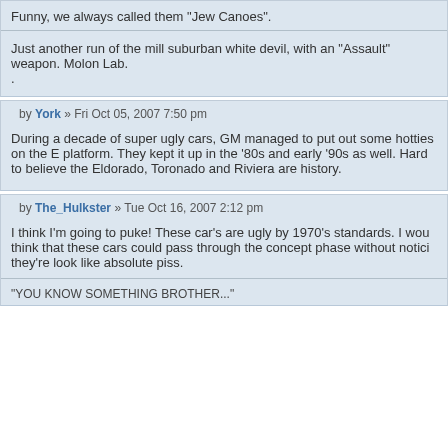Funny, we always called them "Jew Canoes".
Just another run of the mill suburban white devil, with an "Assault" weapon. Molon Lab.
by York » Fri Oct 05, 2007 7:50 pm
During a decade of super ugly cars, GM managed to put out some hotties on the E platform. They kept it up in the '80s and early '90s as well. Hard to believe the Eldorado, Toronado and Riviera are history.
by The_Hulkster » Tue Oct 16, 2007 2:12 pm
I think I'm going to puke! These car's are ugly by 1970's standards. I would think that these cars could pass through the concept phase without noticing they're look like absolute piss.
"YOU KNOW SOMETHING BROTHER..."